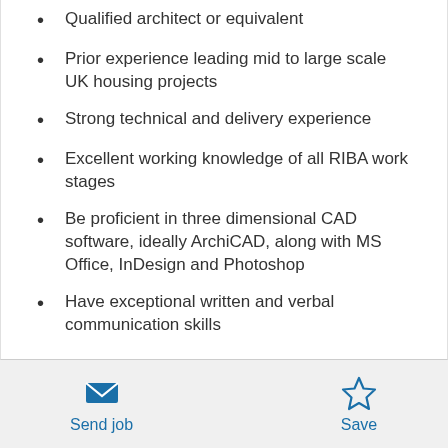Qualified architect or equivalent
Prior experience leading mid to large scale UK housing projects
Strong technical and delivery experience
Excellent working knowledge of all RIBA work stages
Be proficient in three dimensional CAD software, ideally ArchiCAD, along with MS Office, InDesign and Photoshop
Have exceptional written and verbal communication skills
Send job   Save